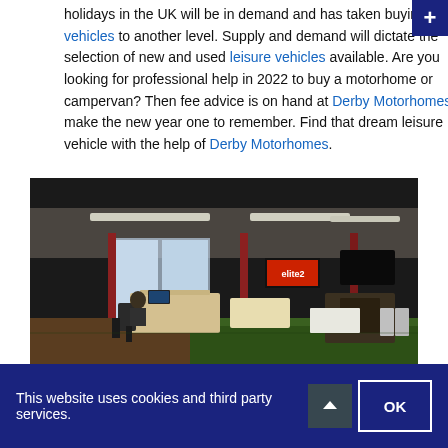holidays in the UK will be in demand and has taken buying leisure vehicles to another level. Supply and demand will dictate the selection of new and used leisure vehicles available. Are you looking for professional help in 2022 to buy a motorhome or campervan? Then fee advice is on hand at Derby Motorhomes to make the new year one to remember. Find that dream leisure vehicle with the help of Derby Motorhomes.
[Figure (photo): Interior of a large showroom or open office space with green carpet floor, desks, chairs, red pillars, large windows, and fluorescent ceiling lighting. A banner sign is visible in the background.]
This website uses cookies and third party services.